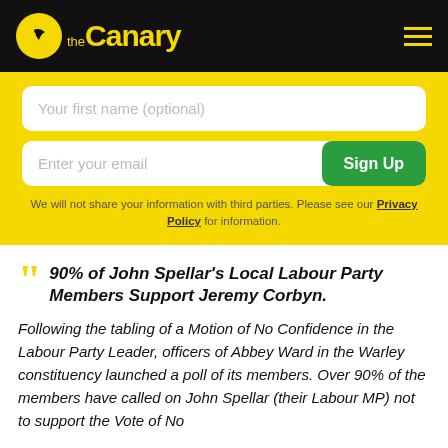the Canary
Your first name (optional)
Enter your email | Sign Up
We will not share your information with third parties. Please see our Privacy Policy for information.
90% of John Spellar's Local Labour Party Members Support Jeremy Corbyn.
Following the tabling of a Motion of No Confidence in the Labour Party Leader, officers of Abbey Ward in the Warley constituency launched a poll of its members. Over 90% of the members have called on John Spellar (their Labour MP) not to support the Vote of No